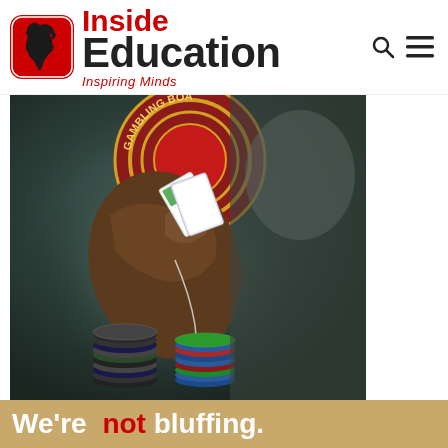[Figure (logo): Inside Education logo with Africa map icon in red rounded square, text 'Inside Education' and tagline 'Inspiring Minds']
[Figure (photo): A hand holding playing cards above a pile of casino poker chips, with a circular gambling board badge/logo visible at the top]
We're not bluffing.